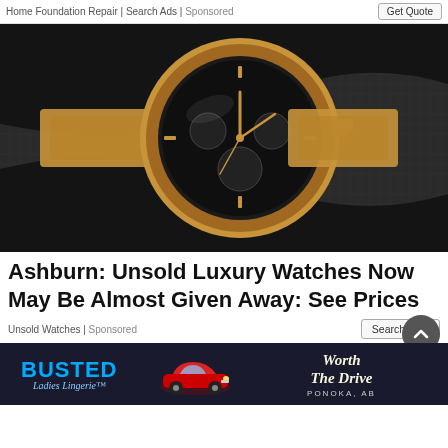Home Foundation Repair | Search Ads | Sponsored
[Figure (photo): Close-up photo of a luxury rose-gold chronograph watch with black dial, resting on a black leather surface with a textured grid background]
Ashburn: Unsold Luxury Watches Now May Be Almost Given Away: See Prices
Unsold Watches | Sponsored
[Figure (photo): Advertisement banner for Busted Ladies Lingerie featuring a red classic car and the text 'Worth The Drive', located in Ponoka, AB]